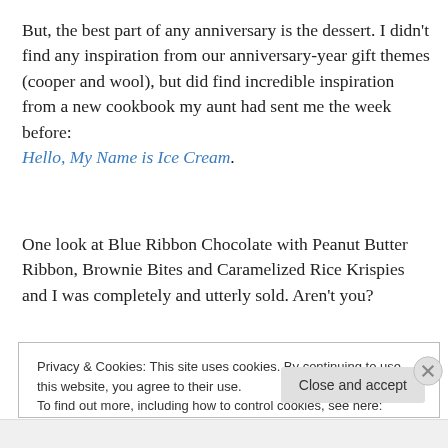But, the best part of any anniversary is the dessert. I didn't find any inspiration from our anniversary-year gift themes (cooper and wool), but did find incredible inspiration from a new cookbook my aunt had sent me the week before: Hello, My Name is Ice Cream.
One look at Blue Ribbon Chocolate with Peanut Butter Ribbon, Brownie Bites and Caramelized Rice Krispies and I was completely and utterly sold. Aren't you?
Privacy & Cookies: This site uses cookies. By continuing to use this website, you agree to their use. To find out more, including how to control cookies, see here: Cookie Policy Close and accept